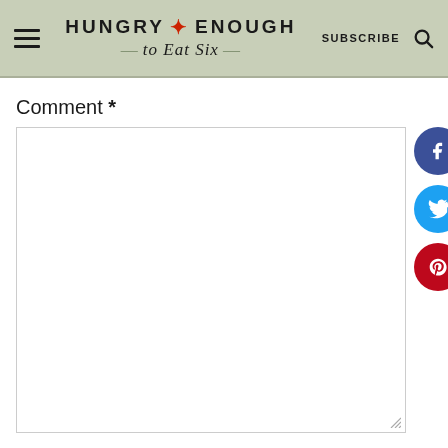HUNGRY • ENOUGH to Eat Six — SUBSCRIBE (search icon)
Comment *
[Figure (screenshot): Empty comment text area input box with resize handle at bottom right]
[Figure (infographic): Three social sharing circular buttons: Facebook (dark blue, f icon), Twitter (light blue, bird icon), Pinterest (red, p icon)]